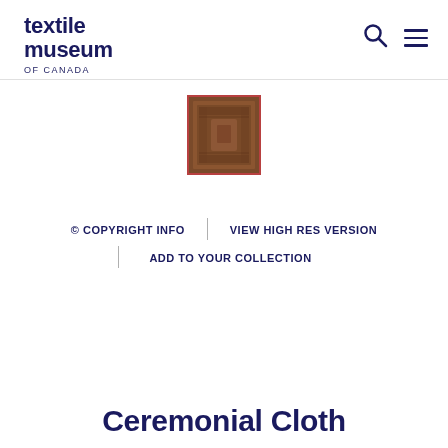textile museum OF CANADA
[Figure (photo): Small thumbnail image of a brown ceremonial cloth with decorative woven patterns, displayed with a red/maroon border frame]
© COPYRIGHT INFO | VIEW HIGH RES VERSION
ADD TO YOUR COLLECTION
Ceremonial Cloth